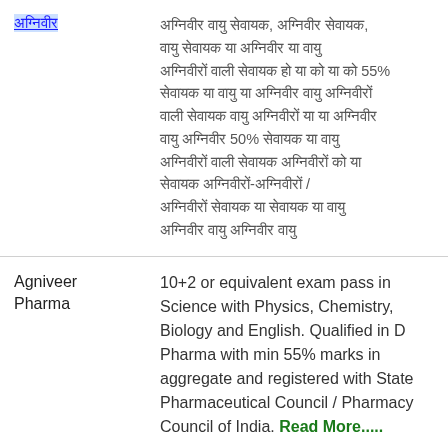| Category | Eligibility |
| --- | --- |
| [Hindi text - link] | [Hindi eligibility text with 55% and 50% mentions] |
| Agniveer Pharma | 10+2 or equivalent exam pass in Science with Physics, Chemistry, Biology and English. Qualified in D Pharma with min 55% marks in aggregate and registered with State Pharmaceutical Council / Pharmacy Council of India. Read More..... |